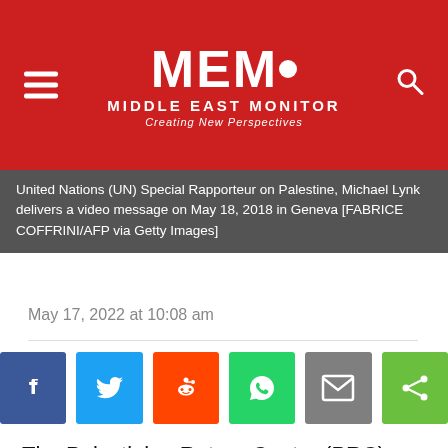MEMO MIDDLE EAST MONITOR - Creating New Perspectives
United Nations (UN) Special Rapporteur on Palestine, Michael Lynk delivers a video message on May 18, 2018 in Geneva [FABRICE COFFRINI/AFP via Getty Images]
May 17, 2022 at 10:08 am
[Figure (infographic): Social media share buttons: Facebook, Twitter, Reddit, WhatsApp, Email, Share]
The Palestinian Return Centre (PRC) held a webinar to discuss the latest report by the former United Nations Special Rapporteur on the situation in the Occupied Palestinian Territory (OPT), Michael Lynk, who ended his